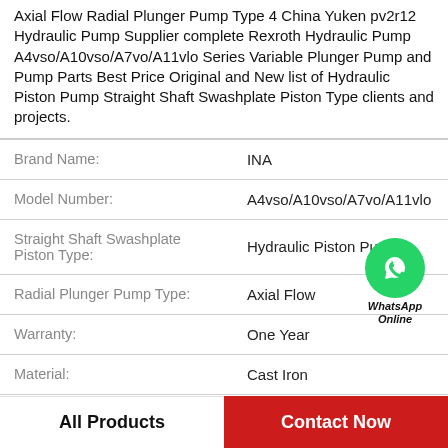Axial Flow Radial Plunger Pump Type 4 China Yuken pv2r12 Hydraulic Pump Supplier complete Rexroth Hydraulic Pump A4vso/A10vso/A7vo/A11vlo Series Variable Plunger Pump and Pump Parts Best Price Original and New list of Hydraulic Piston Pump Straight Shaft Swashplate Piston Type clients and projects.
| Attribute | Value |
| --- | --- |
| Brand Name: | INA |
| Model Number: | A4vso/A10vso/A7vo/A11vlo |
| Straight Shaft Swashplate Piston Type: | Hydraulic Piston Pump |
| Radial Plunger Pump Type: | Axial Flow |
| Warranty: | One Year |
| Material: | Cast Iron |
| Origin: | ... |
[Figure (logo): WhatsApp Online green circle badge with phone icon and text WhatsApp Online]
All Products   Contact Now